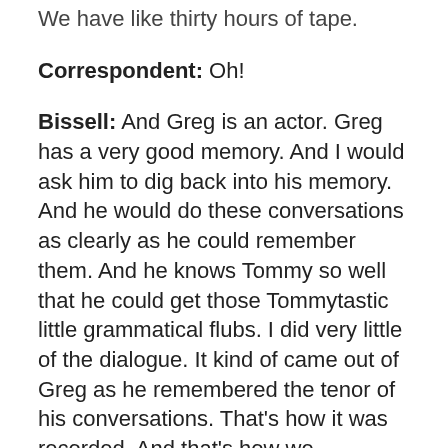We have like thirty hours of tape.
Correspondent: Oh!
Bissell: And Greg is an actor. Greg has a very good memory. And I would ask him to dig back into his memory. And he would do these conversations as clearly as he could remember them. And he knows Tommy so well that he could get those Tommytastic little grammatical flubs. I did very little of the dialogue. It kind of came out of Greg as he remembered the tenor of his conversations. That’s how it was recorded. And that’s how we transcribed it.
Correspondent: Was there any severe trauma, Greg, in this sense memory?
Sontore: Yeah. Actually, that’s off to a very good